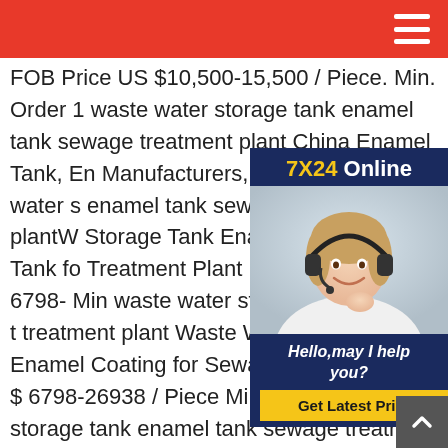FOB Price US $10,500-15,500 / Piece. Min. Order 1 waste water storage tank enamel tank sewage treatment plant China Enamel Tank, Enamel Tank Manufacturers, Suppliers waste water storage enamel tank sewage treatment plantWater Storage Tank Enamel Assembly Tank for Sewage Treatment Plant FOB Price US $ 6798- Min waste water storage tank enamel tank sewage treatment plant Waste Water Liquid Storage Enamel Coating for Sewage Treatment US $ 6798-26938 / Piece Min waste water storage tank enamel tank sewage treatment plant You will be amazed by the variety of the product choices such as water tank , water storage tank , tank . waste water storage tank enamel tank sewage treatment plant
[Figure (photo): Chat widget with customer service representative wearing a headset. Header shows '7X24 Online' in yellow and white on dark blue background. Below shows a woman with a headset smiling. Bottom section shows 'Hello, may I help you?' text and a 'Get Latest Price' button in yellow.]
[Figure (other): Scroll to top button - dark grey square with upward chevron arrow in white]